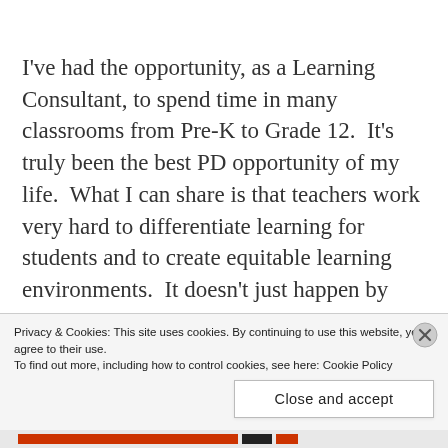I've had the opportunity, as a Learning Consultant, to spend time in many classrooms from Pre-K to Grade 12.  It's truly been the best PD opportunity of my life.  What I can share is that teachers work very hard to differentiate learning for students and to create equitable learning environments.  It doesn't just happen by accident.  Equity develops in classrooms because teachers create a learning environment where it's safe for students to learn,
Privacy & Cookies: This site uses cookies. By continuing to use this website, you agree to their use.
To find out more, including how to control cookies, see here: Cookie Policy
Close and accept